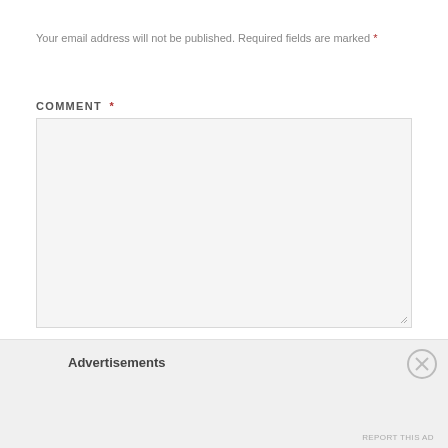Your email address will not be published. Required fields are marked *
COMMENT *
[Figure (other): Empty comment textarea with light gray background and resize handle]
NAME *
[Figure (other): Empty name input field with light gray background]
Advertisements
[Figure (other): Close button circle with X]
REPORT THIS AD